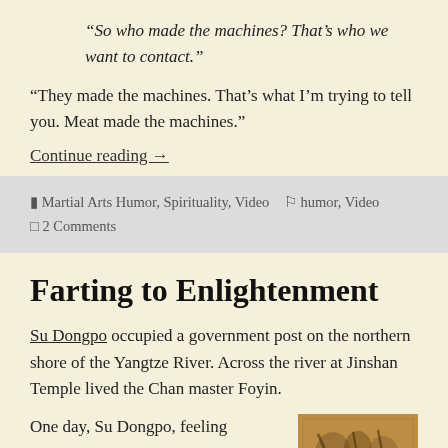“So who made the machines? That’s who we want to contact.”
“They made the machines. That’s what I’m trying to tell you. Meat made the machines.”
Continue reading →
Martial Arts Humor, Spirituality, Video   humor, Video   2 Comments
Farting to Enlightenment
Su Dongpo occupied a government post on the northern shore of the Yangtze River. Across the river at Jinshan Temple lived the Chan master Foyin.
One day, Su Dongpo, feeling
[Figure (photo): Old illustrated artwork or calligraphy image in brownish tones]